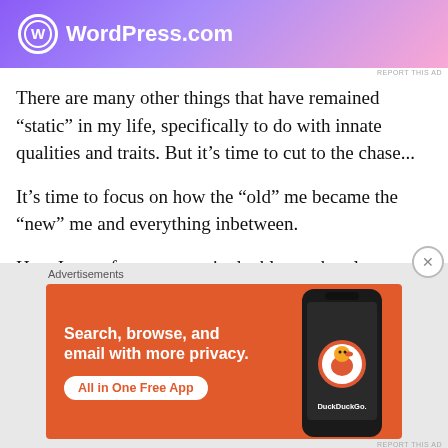[Figure (screenshot): WordPress.com advertisement banner with gradient purple-to-pink background, WordPress logo (circle with W) and text 'WordPress.com']
REPORT THIS AD
There are many other things that have remained “static” in my life, specifically to do with innate qualities and traits. But it’s time to cut to the chase...
It’s time to focus on how the “old” me became the “new” me and everything inbetween.
How I went from a commited athlete to barely walking...
Advertisements
[Figure (screenshot): DuckDuckGo advertisement on orange background: 'Search, browse, and email with more privacy. All in One Free App' with phone mockup showing DuckDuckGo logo]